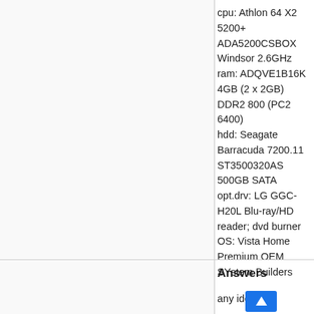cpu: Athlon 64 X2 5200+ ADA5200CSBOX Windsor 2.6GHz
ram: ADQVE1B16K 4GB (2 x 2GB) DDR2 800 (PC2 6400)
hdd: Seagate Barracuda 7200.11 ST3500320AS 500GB SATA
opt.drv: LG GGC-H20L Blu-ray/HD reader; dvd burner
OS: Vista Home Premium OEM SYstem Builders
any ideas?
Saturday, May 10, 2008 12:06 PM
Answers